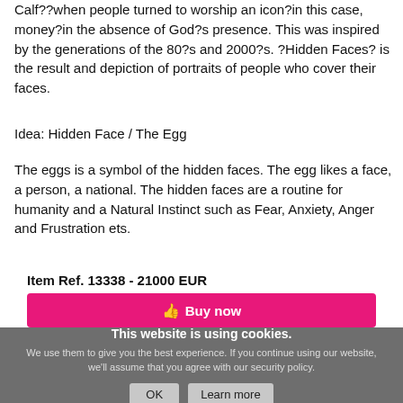Calf??when people turned to worship an icon?in this case, money?in the absence of God?s presence. This was inspired by the generations of the 80?s and 2000?s. ?Hidden Faces? is the result and depiction of portraits of people who cover their faces.
Idea: Hidden Face / The Egg
The eggs is a symbol of the hidden faces. The egg likes a face, a person, a national. The hidden faces are a routine for humanity and a Natural Instinct such as Fear, Anxiety, Anger and Frustration ets.
Item Ref. 13338 - 21000 EUR
Buy now
This website is using cookies. We use them to give you the best experience. If you continue using our website, we'll assume that you agree with our security policy.
OK
Learn more